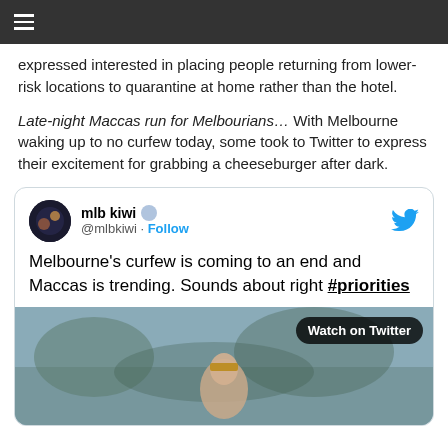≡
expressed interested in placing people returning from lower-risk locations to quarantine at home rather than the hotel.
Late-night Maccas run for Melbourians… With Melbourne waking up to no curfew today, some took to Twitter to express their excitement for grabbing a cheeseburger after dark.
[Figure (screenshot): Embedded tweet from @mlbkiwi: Melbourne's curfew is coming to an end and Maccas is trending. Sounds about right #priorities, with a video thumbnail showing a woman in costume with a 'Watch on Twitter' overlay.]